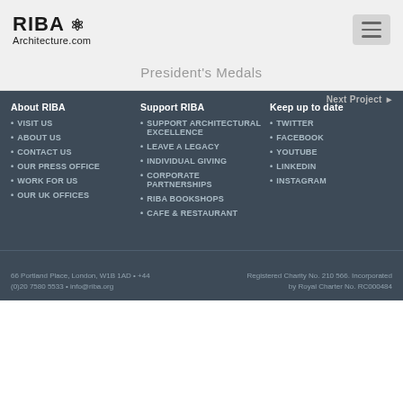RIBA Architecture.com
President's Medals
About RIBA
VISIT US
ABOUT US
CONTACT US
OUR PRESS OFFICE
WORK FOR US
OUR UK OFFICES
Support RIBA
SUPPORT ARCHITECTURAL EXCELLENCE
LEAVE A LEGACY
INDIVIDUAL GIVING
CORPORATE PARTNERSHIPS
RIBA BOOKSHOPS
CAFE & RESTAURANT
Keep up to date
TWITTER
FACEBOOK
YOUTUBE
LINKEDIN
INSTAGRAM
66 Portland Place, London, W1B 1AD • +44 (0)20 7580 5533 • info@riba.org   Registered Charity No. 210 566. Incorporated by Royal Charter No. RC000484